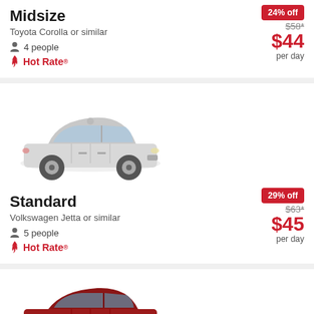Midsize
Toyota Corolla or similar
4 people
Hot Rate®
24% off
$58*
$44
per day
[Figure (photo): Silver Volkswagen Jetta sedan, side-front view]
Standard
Volkswagen Jetta or similar
5 people
Hot Rate®
29% off
$63*
$45
per day
[Figure (photo): Red Ford Fusion sedan, side-front view, partially visible]